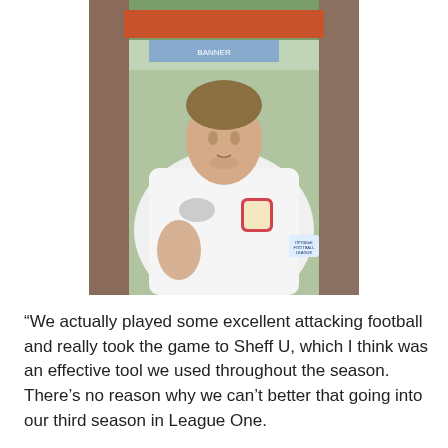[Figure (photo): A male football player wearing a white Puma jersey with red and dark V-neck collar, featuring a club crest badge on the chest and a league patch on the sleeve. Stadium background visible.]
“We actually played some excellent attacking football and really took the game to Sheff U, which I think was an effective tool we used throughout the season. There’s no reason why we can’t better that going into our third season in League One.